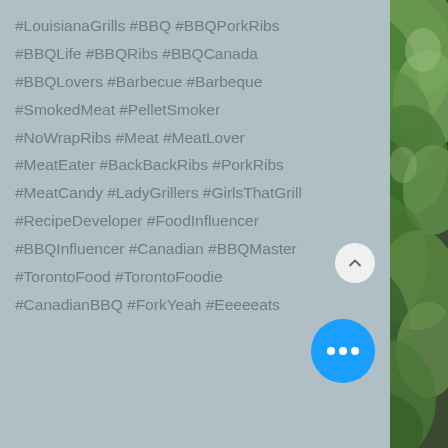#LouisianaGrills #BBQ #BBQPorkRibs #BBQLife #BBQRibs #BBQCanada #BBQLovers #Barbecue #Barbeque #SmokedMeat #PelletSmoker #NoWrapRibs #Meat #MeatLover #MeatEater #BackBackRibs #PorkRibs #MeatCandy #LadyGrillers #GirlsThatGrill #RecipeDeveloper #FoodInfluencer #BBQInfluencer #Canadian #BBQMaster #TorontoFood #TorontoFoodie #CanadianBBQ #ForkYeah #Eeeeeats
BBQ Blog
bbq hacks
bbq influencer
bbq master
bbq porn
BBQ Pitmaster
BBQ Recipe
bbq tips
bbq recip...
[Figure (photo): Green vegetable/plant leaves photo on the right side of the page]